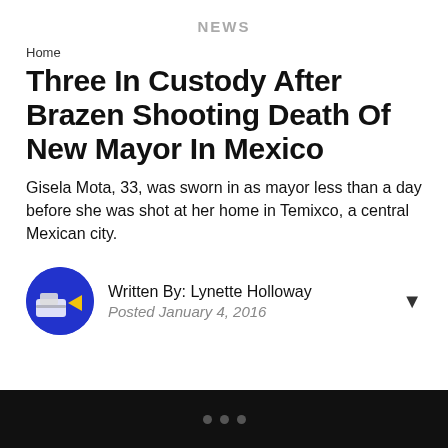NEWS
Home
Three In Custody After Brazen Shooting Death Of New Mayor In Mexico
Gisela Mota, 33, was sworn in as mayor less than a day before she was shot at her home in Temixco, a central Mexican city.
Written By: Lynette Holloway
Posted January 4, 2016